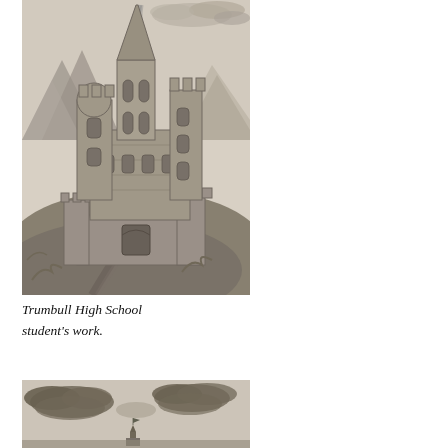[Figure (illustration): Pencil drawing of a medieval castle on a hilltop with towers, battlements, stone walls, a winding path, and smoke rising from a tall spire. Mountains in the background. Detailed stonework throughout.]
Trumbull High School student's work.
[Figure (illustration): Partial pencil drawing showing dark cloud shapes in the sky with what appears to be a small castle or tower structure visible at the bottom center of the image.]